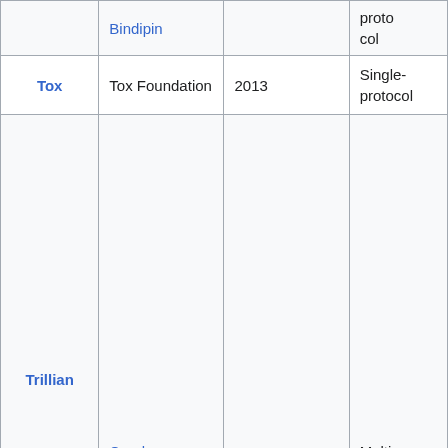|  |  |  | protocol |
| --- | --- | --- | --- |
| Tox | Tox Foundation | 2013 | Single-protocol |
| Trillian | Cerulean Studios | 2000-07-01 | Multi-protocol |